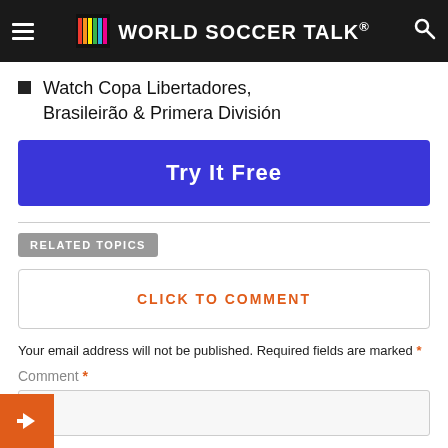World Soccer Talk
Watch Copa Libertadores, Brasileirão & Primera División
Try It Free
RELATED TOPICS
CLICK TO COMMENT
Your email address will not be published. Required fields are marked *
Comment *